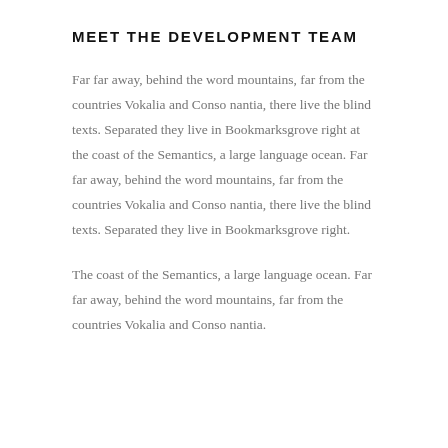MEET THE DEVELOPMENT TEAM
Far far away, behind the word mountains, far from the countries Vokalia and Conso nantia, there live the blind texts. Separated they live in Bookmarksgrove right at the coast of the Semantics, a large language ocean. Far far away, behind the word mountains, far from the countries Vokalia and Conso nantia, there live the blind texts. Separated they live in Bookmarksgrove right.
The coast of the Semantics, a large language ocean. Far far away, behind the word mountains, far from the countries Vokalia and Conso nantia.